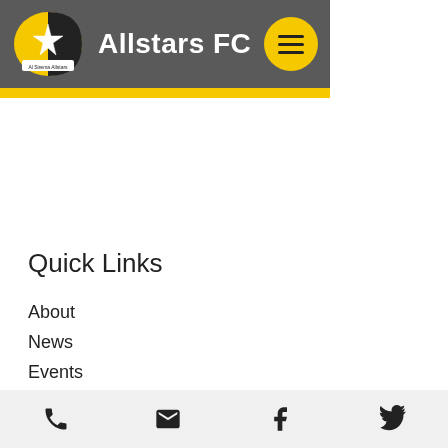Allstars FC
Quick Links
About
News
Events
Code of conduct for players
Code of conduct for parents/guardians
Phone | Email | Facebook | Twitter